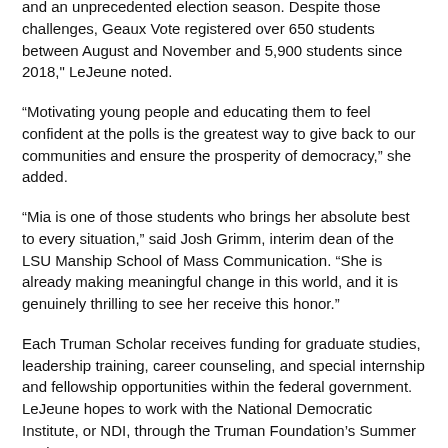and an unprecedented election season. Despite those challenges, Geaux Vote registered over 650 students between August and November and 5,900 students since 2018," LeJeune noted.
“Motivating young people and educating them to feel confident at the polls is the greatest way to give back to our communities and ensure the prosperity of democracy,” she added.
“Mia is one of those students who brings her absolute best to every situation,” said Josh Grimm, interim dean of the LSU Manship School of Mass Communication. “She is already making meaningful change in this world, and it is genuinely thrilling to see her receive this honor.”
Each Truman Scholar receives funding for graduate studies, leadership training, career counseling, and special internship and fellowship opportunities within the federal government. LeJeune hopes to work with the National Democratic Institute, or NDI, through the Truman Foundation’s Summer Institute.